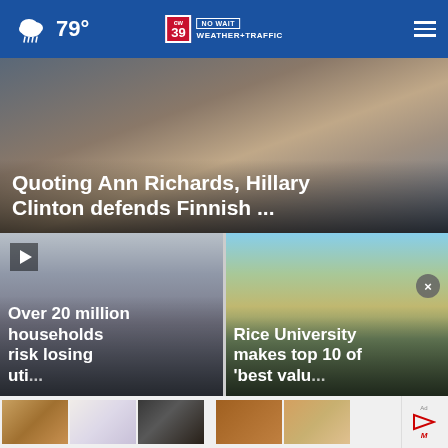CW39 Houston — 79° — NO WAIT WEATHER+TRAFFIC
[Figure (photo): Hands holding a small object, hero news image]
Quoting Ann Richards, Hillary Clinton defends Finnish ...
[Figure (photo): Woman with head in hands, stressed, video thumbnail with play button]
Over 20 million households risk losing uti...
[Figure (photo): Aerial view of Rice University campus buildings and grounds]
Rice University makes top 10 of 'best valu...
[Figure (photo): Advertisement strip with thumbnail images at bottom of page]